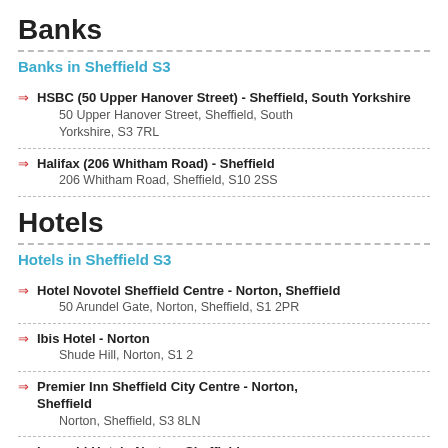Banks
Banks in Sheffield S3
HSBC (50 Upper Hanover Street) - Sheffield, South Yorkshire
50 Upper Hanover Street, Sheffield, South Yorkshire, S3 7RL
Halifax (206 Whitham Road) - Sheffield
206 Whitham Road, Sheffield, S10 2SS
Hotels
Hotels in Sheffield S3
Hotel Novotel Sheffield Centre - Norton, Sheffield
50 Arundel Gate, Norton, Sheffield, S1 2PR
Ibis Hotel - Norton
Shude Hill, Norton, S1 2
Premier Inn Sheffield City Centre - Norton, Sheffield
Norton, Sheffield, S3 8LN
Leopold Hotel - Norton, Sheffield